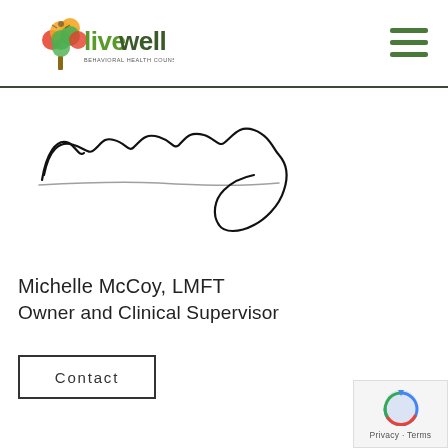[Figure (logo): LiveWell Behavioral Health Counseling Center logo with colorful tree and text]
[Figure (illustration): Handwritten signature of Michelle McCoy]
Michelle McCoy, LMFT
Owner and Clinical Supervisor
Contact
[Figure (other): Google reCAPTCHA badge with Privacy and Terms links]